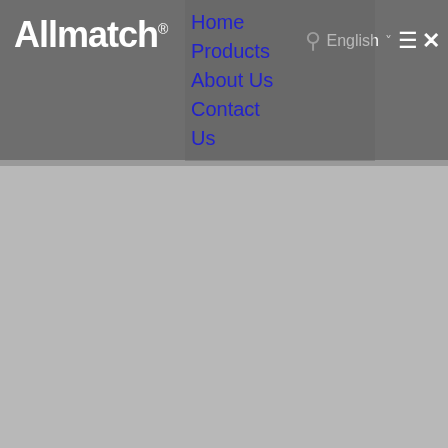[Figure (screenshot): Allmatch website header/navigation screenshot showing logo on the left, navigation links (Home, Products, About Us, Contact Us) in blue, and controls (search icon, English language selector with dropdown arrow, hamburger menu icon, close X icon) on the right, all on a dark grey background. Below the header is a light grey content area.]
Allmatch® | Home | Products | About Us | Contact Us | English